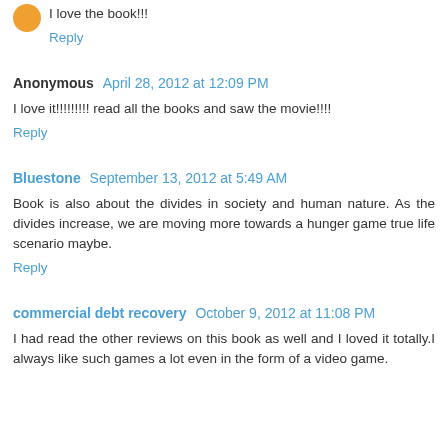I love the book!!!
Reply
Anonymous  April 28, 2012 at 12:09 PM
I love it!!!!!!!!! read all the books and saw the movie!!!!
Reply
Bluestone  September 13, 2012 at 5:49 AM
Book is also about the divides in society and human nature. As the divides increase, we are moving more towards a hunger game true life scenario maybe.
Reply
commercial debt recovery  October 9, 2012 at 11:08 PM
I had read the other reviews on this book as well and I loved it totally.I always like such games a lot even in the form of a video game.